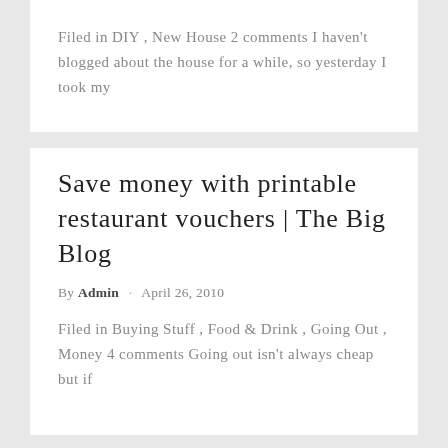Filed in DIY , New House 2 comments I haven't blogged about the house for a while, so yesterday I took my
Save money with printable restaurant vouchers | The Big Blog
By Admin · April 26, 2010
Filed in Buying Stuff , Food & Drink , Going Out , Money 4 comments Going out isn't always cheap but if